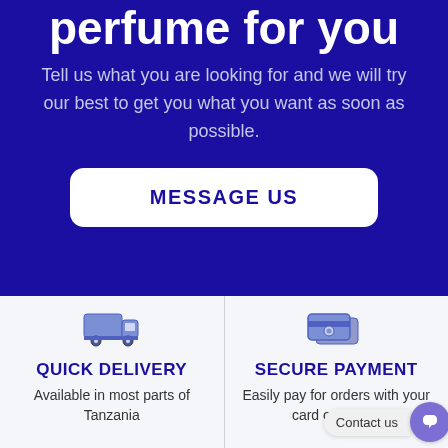perfume for you
Tell us what you are looking for and we will try our best to get you what you want as soon as possible.
MESSAGE US
[Figure (illustration): Delivery truck icon in blue]
QUICK DELIVERY
Available in most parts of Tanzania
[Figure (illustration): Secure payment / card icon in blue]
SECURE PAYMENT
Easily pay for orders with your card or mobile
Contact us